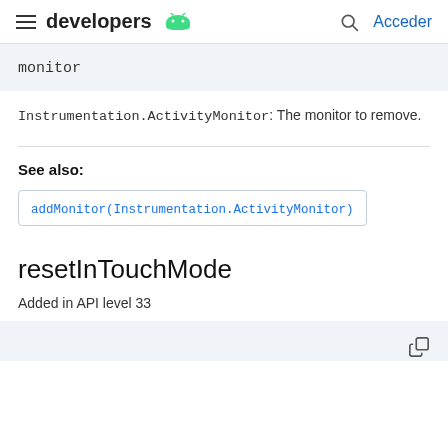developers [android logo] | Acceder
monitor
Instrumentation.ActivityMonitor: The monitor to remove.
See also:
addMonitor(Instrumentation.ActivityMonitor)
resetInTouchMode
Added in API level 33